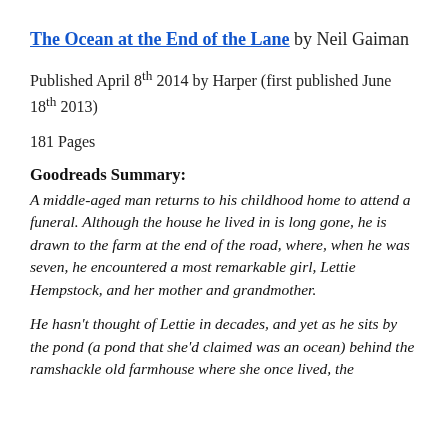The Ocean at the End of the Lane by Neil Gaiman
Published April 8th 2014 by Harper (first published June 18th 2013)
181 Pages
Goodreads Summary:
A middle-aged man returns to his childhood home to attend a funeral. Although the house he lived in is long gone, he is drawn to the farm at the end of the road, where, when he was seven, he encountered a most remarkable girl, Lettie Hempstock, and her mother and grandmother.
He hasn't thought of Lettie in decades, and yet as he sits by the pond (a pond that she'd claimed was an ocean) behind the ramshackle old farmhouse where she once lived, the